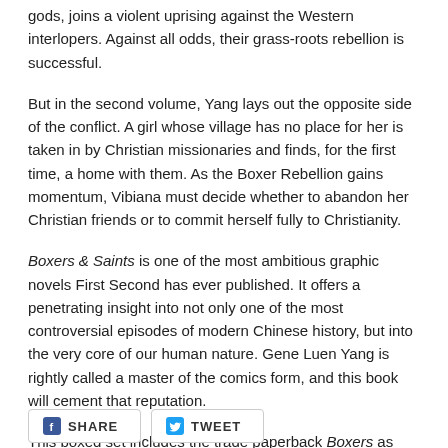gods, joins a violent uprising against the Western interlopers. Against all odds, their grass-roots rebellion is successful.
But in the second volume, Yang lays out the opposite side of the conflict. A girl whose village has no place for her is taken in by Christian missionaries and finds, for the first time, a home with them. As the Boxer Rebellion gains momentum, Vibiana must decide whether to abandon her Christian friends or to commit herself fully to Christianity.
Boxers & Saints is one of the most ambitious graphic novels First Second has ever published. It offers a penetrating insight into not only one of the most controversial episodes of modern Chinese history, but into the very core of our human nature. Gene Luen Yang is rightly called a master of the comics form, and this book will cement that reputation.
This boxed set includes the trade paperback Boxers as well as the trade paperback Saints, packaged together in one slipcase.